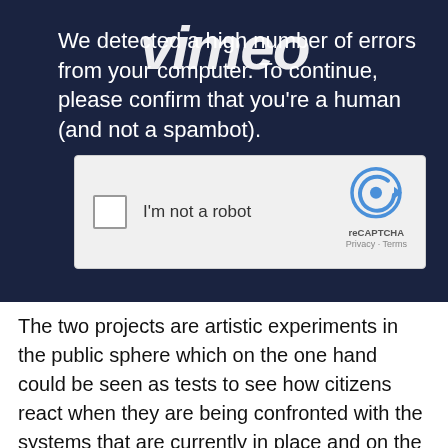[Figure (screenshot): Screenshot of a Vimeo error page with a dark navy blue background. The Vimeo logo overlays text that reads: 'We detected a high number of errors from your computer. To continue, please confirm that you're a human (and not a spambot).' Below the text is a reCAPTCHA widget with a checkbox labeled 'I'm not a robot' and the reCAPTCHA logo with Privacy and Terms links.]
The two projects are artistic experiments in the public sphere which on the one hand could be seen as tests to see how citizens react when they are being confronted with the systems that are currently in place and on the other hand as a source of research for public behavior, so Kelomees argues.